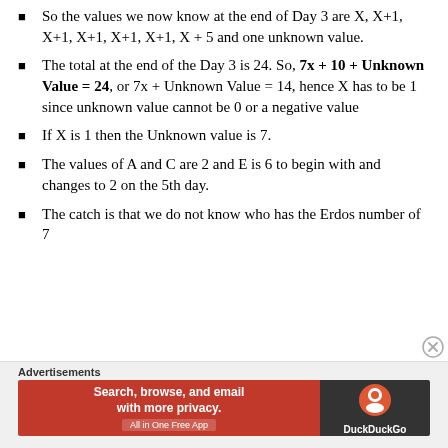So the values we now know at the end of Day 3 are X, X+1, X+1, X+1, X+1, X+1, X + 5 and one unknown value.
The total at the end of the Day 3 is 24. So, 7x + 10 + Unknown Value = 24, or 7x + Unknown Value = 14, hence X has to be 1 since unknown value cannot be 0 or a negative value
If X is 1 then the Unknown value is 7.
The values of A and C are 2 and E is 6 to begin with and changes to 2 on the 5th day.
The catch is that we do not know who has the Erdos number of 7
Advertisements
Search, browse, and email with more privacy. All in One Free App — DuckDuckGo